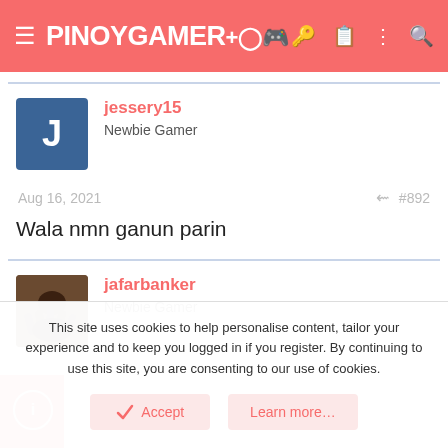PINOYGAMER+
jessery15
Newbie Gamer
Aug 16, 2021  #892
Wala nmn ganun parin
jafarbanker
Newbie Gamer
This site uses cookies to help personalise content, tailor your experience and to keep you logged in if you register. By continuing to use this site, you are consenting to our use of cookies.